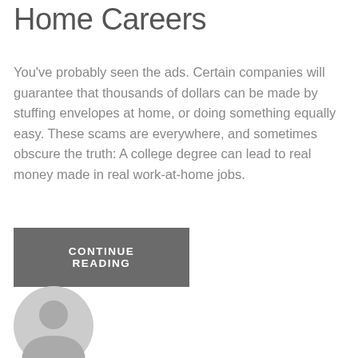Home Careers
You've probably seen the ads. Certain companies will guarantee that thousands of dollars can be made by stuffing envelopes at home, or doing something equally easy. These scams are everywhere, and sometimes obscure the truth: A college degree can lead to real money made in real work-at-home jobs.
CONTINUE READING
[Figure (illustration): Generic user avatar icon — a circular grey silhouette of a person (head and shoulders) on a light grey background circle]